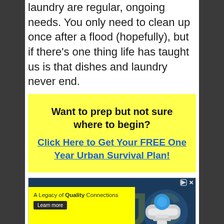laundry are regular, ongoing needs. You only need to clean up once after a flood (hopefully), but if there's one thing life has taught us is that dishes and laundry never end.
[Figure (infographic): Yellow call-to-action box with bold text 'Want to prep but not sure where to begin?' and a blue underlined link 'Click Here to Get Your FREE One Year Urban Survival Plan!']
[Figure (infographic): John Guest advertisement banner on yellow background with teal/dark blue logo letters JG, plumbing fittings image, tagline 'A Legacy of Quality Connections', and Learn more button]